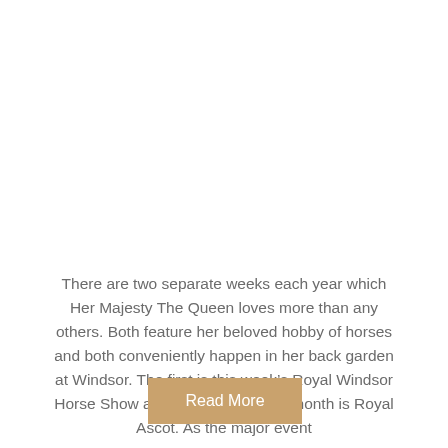There are two separate weeks each year which Her Majesty The Queen loves more than any others. Both feature her beloved hobby of horses and both conveniently happen in her back garden at Windsor. The first is this week's Royal Windsor Horse Show and the second, next month is Royal Ascot. As the major event
Read More